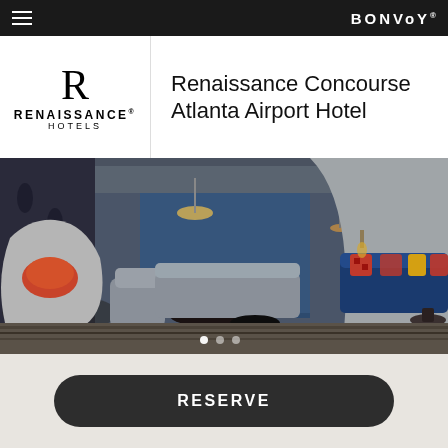Bonvoy
[Figure (logo): Renaissance Hotels logo with large R letterform and brand name]
Renaissance Concourse Atlanta Airport Hotel
[Figure (photo): Hotel lobby interior with stylish seating, blue sofa with colorful pillows, modern chairs, and pendant lighting]
RESERVE